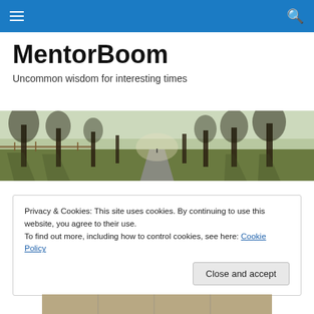MentorBoom – navigation bar with hamburger menu and search icon
MentorBoom
Uncommon wisdom for interesting times
[Figure (photo): Wide panoramic photograph of a tree-lined path or road in a park, with bare winter trees casting shadows on grassy ground, perspective leading to a distant vanishing point]
Privacy & Cookies: This site uses cookies. By continuing to use this website, you agree to their use.
To find out more, including how to control cookies, see here: Cookie Policy
[Figure (photo): Partial bottom image, appears to show an interior scene, only partly visible]